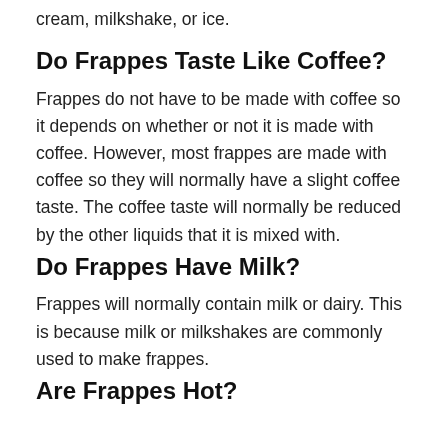cream, milkshake, or ice.
Do Frappes Taste Like Coffee?
Frappes do not have to be made with coffee so it depends on whether or not it is made with coffee. However, most frappes are made with coffee so they will normally have a slight coffee taste. The coffee taste will normally be reduced by the other liquids that it is mixed with.
Do Frappes Have Milk?
Frappes will normally contain milk or dairy. This is because milk or milkshakes are commonly used to make frappes.
Are Frappes Hot?